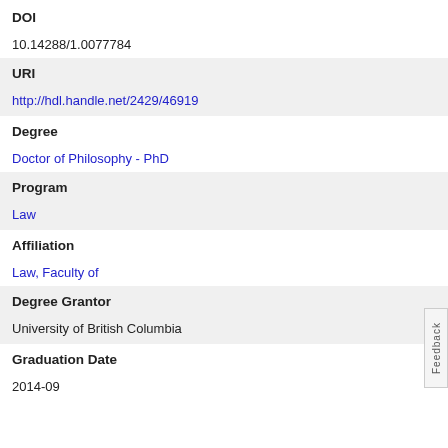DOI
10.14288/1.0077784
URI
http://hdl.handle.net/2429/46919
Degree
Doctor of Philosophy - PhD
Program
Law
Affiliation
Law, Faculty of
Degree Grantor
University of British Columbia
Graduation Date
2014-09